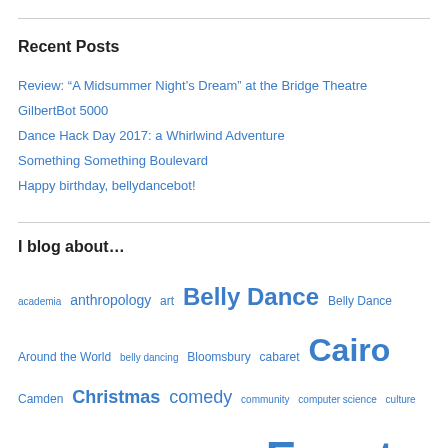Recent Posts
Review: “A Midsummer Night’s Dream” at the Bridge Theatre
GilbertBot 5000
Dance Hack Day 2017: a Whirlwind Adventure
Something Something Boulevard
Happy birthday, bellydancebot!
I blog about…
academia anthropology art Belly Dance Belly Dance Around the World belly dancing Bloomsbury cabaret Cairo Camden Christmas comedy community computer science culture dance dancing data data visualization Egypt Everything Theatre family fear Feminism Fitzrovia Fitzrovia London